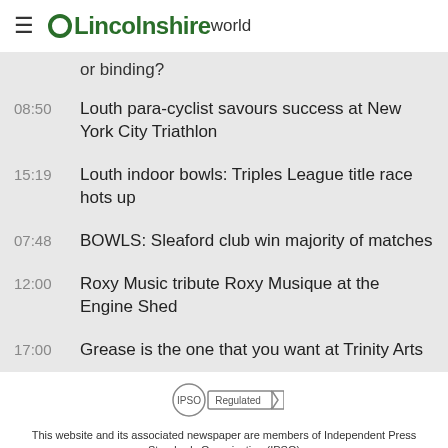LincolnshireWorld
or binding?
08:50  Louth para-cyclist savours success at New York City Triathlon
15:19  Louth indoor bowls: Triples League title race hots up
07:48  BOWLS: Sleaford club win majority of matches
12:00  Roxy Music tribute Roxy Musique at the Engine Shed
17:00  Grease is the one that you want at Trinity Arts
[Figure (logo): IPSO Regulated badge]
This website and its associated newspaper are members of Independent Press Standards Organisation (IPSO)